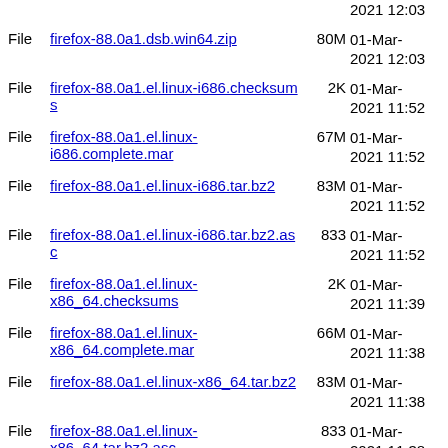File  firefox-88.0a1.dsb.win64.zip  80M  01-Mar-2021 12:03
File  firefox-88.0a1.el.linux-i686.checksums  2K  01-Mar-2021 11:52
File  firefox-88.0a1.el.linux-i686.complete.mar  67M  01-Mar-2021 11:52
File  firefox-88.0a1.el.linux-i686.tar.bz2  83M  01-Mar-2021 11:52
File  firefox-88.0a1.el.linux-i686.tar.bz2.asc  833  01-Mar-2021 11:52
File  firefox-88.0a1.el.linux-x86_64.checksums  2K  01-Mar-2021 11:39
File  firefox-88.0a1.el.linux-x86_64.complete.mar  66M  01-Mar-2021 11:38
File  firefox-88.0a1.el.linux-x86_64.tar.bz2  83M  01-Mar-2021 11:38
File  firefox-88.0a1.el.linux-x86_64.tar.bz2.asc  833  01-Mar-2021 11:38
File  firefox-88.0a1.el.mac.checksums  2K  01-Mar-2021 13:06
File  firefox-88.0a1.el.mac.complete.mar  106M  01-Mar-2021 13:05